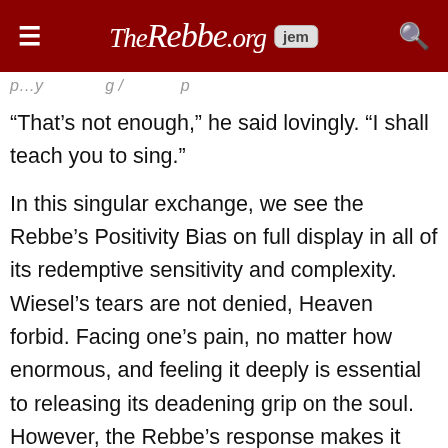TheRebbe.org | jem
“That’s not enough,” he said lovingly. “I shall teach you to sing.”
In this singular exchange, we see the Rebbe’s Positivity Bias on full display in all of its redemptive sensitivity and complexity. Wiesel’s tears are not denied, Heaven forbid. Facing one’s pain, no matter how enormous, and feeling it deeply is essential to releasing its deadening grip on the soul. However, the Rebbe’s response makes it clear that this catharsis is not the ultimate goal. It’s what comes after the tears that the Rebbe remains focused on, and what he wanted to communicate to the aspiring author